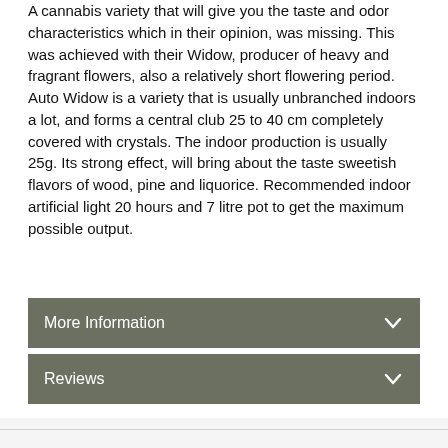A cannabis variety that will give you the taste and odor characteristics which in their opinion, was missing. This was achieved with their Widow, producer of heavy and fragrant flowers, also a relatively short flowering period. Auto Widow is a variety that is usually unbranched indoors a lot, and forms a central club 25 to 40 cm completely covered with crystals. The indoor production is usually 25g. Its strong effect, will bring about the taste sweetish flavors of wood, pine and liquorice. Recommended indoor artificial light 20 hours and 7 litre pot to get the maximum possible output.
More Information
Reviews